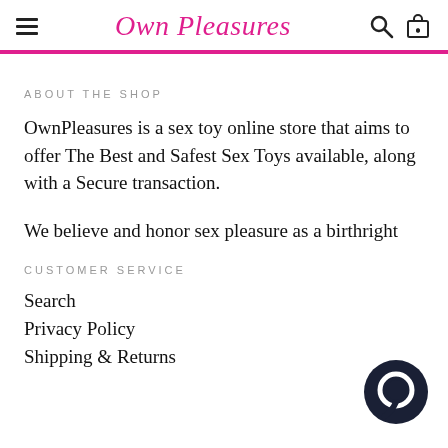Own Pleasures
ABOUT THE SHOP
OwnPleasures is a sex toy online store that aims to offer The Best and Safest Sex Toys available, along with a Secure transaction.
We believe and honor sex pleasure as a birthright
CUSTOMER SERVICE
Search
Privacy Policy
Shipping & Returns